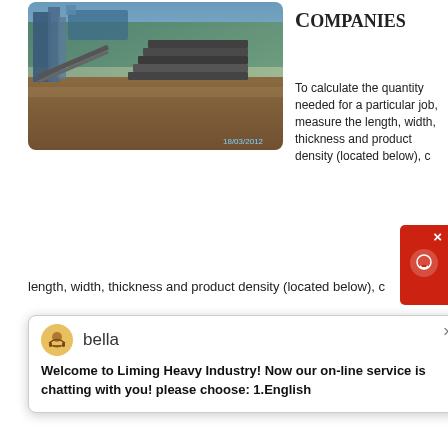[Figure (photo): Outdoor construction/mining site with heavy machinery, steel beams stacked on ground, conveyor belts, timestamp 18/03/2012]
COMPANIES
To calculate the quantity needed for a particular job, measure the length, width, thickness and product density (located below), c
[Figure (screenshot): Live chat popup from Liming Heavy Industry with avatar of agent named bella, message: Welcome to Liming Heavy Industry! Now our on-line service is chatting with you! please choose: 1.English]
get price
[Figure (photo): Close-up of heavy stone crusher machine with red flywheel, blue motor, yellow frame, industrial mining equipment]
STONE DO I NEED FOR MY PROJECT? THE
Nov 09, 2018
Crushed stone is derived from larger rocks that have been crushed or broken down by crushing machines. Crushed stone is used for